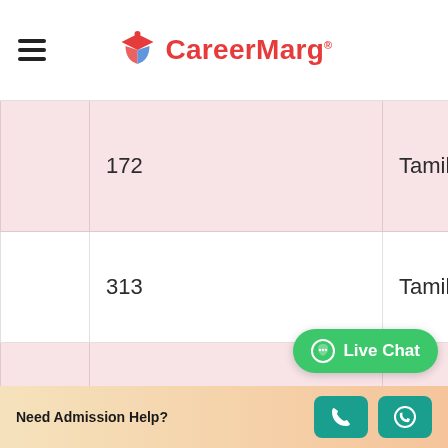CareerMarg
|  | Rank | State | Name |
| --- | --- | --- | --- |
|  | 172 | Tamil Nadu | Vina… |
|  | 313 | Tamil Nadu | Nad… |
|  | 1434 | Tamil Nadu | PPG Sara… |
|  | 119 | Tamil Na… |  |
Need Admission Help?